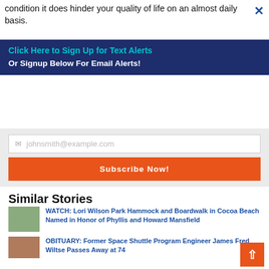condition it does hinder your quality of life on an almost daily basis.
Click Here to Sign Up for Text Alerts
Or Signup Below For Email Alerts!
johnsmith@example.com
Subscribe Now!
Similar Stories
WATCH: Lori Wilson Park Hammock and Boardwalk in Cocoa Beach Named in Honor of Phyllis and Howard Mansfield
OBITUARY: Former Space Shuttle Program Engineer James Fred Wiltse Passes Away at 74
GORILLA ROOFING WEATHER REPORT: Forecast Calls for Thunderstorms Likely, High Near 91 for Brevard On Tuesday
Arrests In Brevard County: August 29, 2022 – Suspects Presumed Innocent Until Proven Guilty
Brevard Fire Rescue Crews Extract Occupants from Tour Bus Collision on I-95 and State Road 528